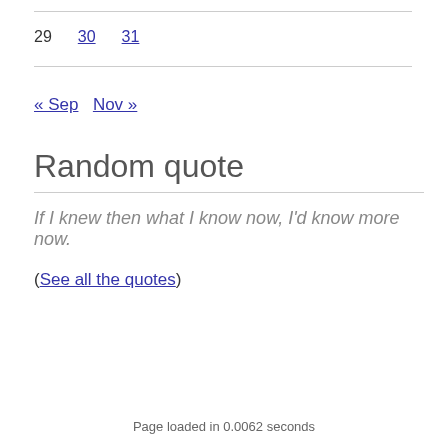29   30   31
« Sep   Nov »
Random quote
If I knew then what I know now, I'd know more now.
(See all the quotes)
Page loaded in 0.0062 seconds